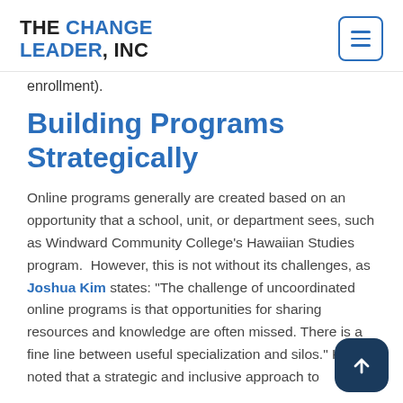The Change Leader, Inc
enrollment).
Building Programs Strategically
Online programs generally are created based on an opportunity that a school, unit, or department sees, such as Windward Community College's Hawaiian Studies program.  However, this is not without its challenges, as Joshua Kim states: “The challenge of uncoordinated online programs is that opportunities for sharing resources and knowledge are often missed. There is a fine line between useful specialization and silos.” Kim noted that a strategic and inclusive approach to